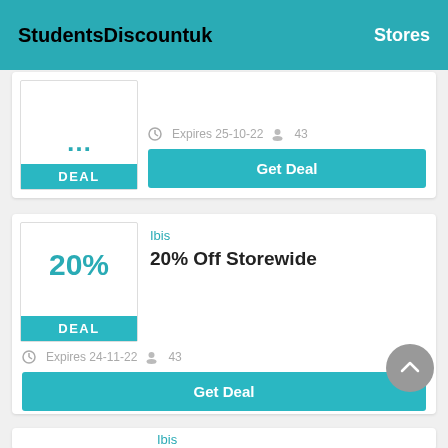StudentsDiscountuk   Stores
[Figure (screenshot): Partial deal card showing a discount percentage (cut off) with a teal DEAL button, expiry date Expires 25-10-22, user count 43, and a Get Deal button]
Ibis
20% Off Storewide
Expires 24-11-22  43
Get Deal
Ibis